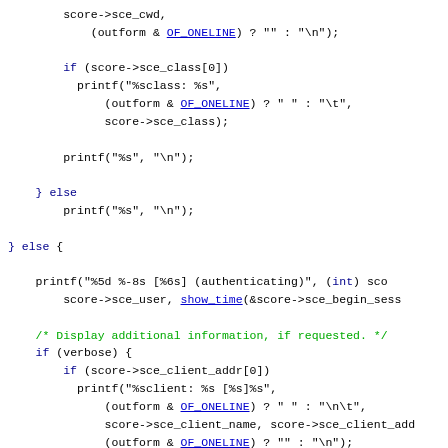Source code fragment showing C code with score->sce_cwd, printf, if/else blocks, OF_ONELINE references, show_time function call, verbose check, and sce_client/server_addr printf statements.